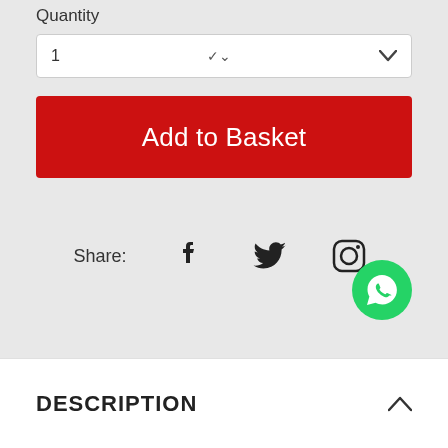Quantity
1
Add to Basket
Share:
[Figure (infographic): Social share icons: Facebook, Twitter, Instagram, and a WhatsApp floating button]
DESCRIPTION